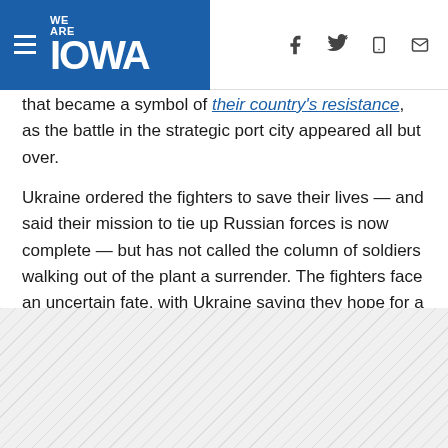WE ARE IOWA [navigation icons: hamburger menu, Facebook, Twitter, mobile, email]
that became a symbol of their country's resistance, as the battle in the strategic port city appeared all but over.
Ukraine ordered the fighters to save their lives — and said their mission to tie up Russian forces is now complete — but has not called the column of soldiers walking out of the plant a surrender. The fighters face an uncertain fate, with Ukraine saying they hope for a prisoner swap but Russia vowing to try at least some of them for war crimes.
[Figure (other): Grey hatched/shaded area filling lower portion of page, likely an advertisement or image placeholder]